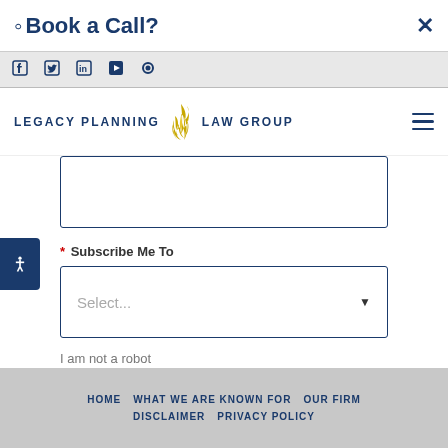Book a Call?
[Figure (screenshot): Social media icons bar: Facebook, Twitter, LinkedIn, YouTube, RSS]
[Figure (logo): Legacy Planning Law Group logo with flame icon]
[Figure (other): Text input field (partially visible)]
* Subscribe Me To
[Figure (other): Dropdown select field with placeholder text 'Select...']
I am not a robot
[Figure (other): Toggle switch in off state]
HOME   WHAT WE ARE KNOWN FOR   OUR FIRM   DISCLAIMER   PRIVACY POLICY